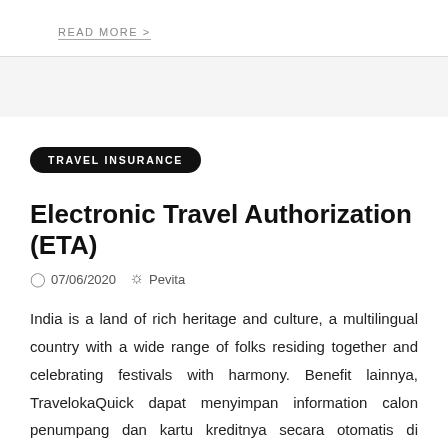READ MORE >
TRAVEL INSURANCE
Electronic Travel Authorization (ETA)
07/06/2020  Pevita
India is a land of rich heritage and culture, a multilingual country with a wide range of folks residing together and celebrating festivals with harmony. Benefit lainnya, TravelokaQuick dapat menyimpan information calon penumpang dan kartu kreditnya secara otomatis di database. When you're nervous, do verify your policy no – and when you do want cover for disruption, you have to